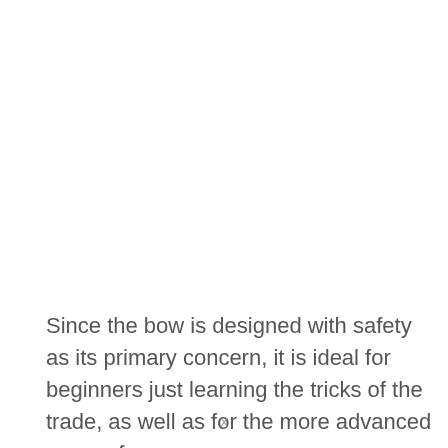Since the bow is designed with safety as its primary concern, it is ideal for beginners just learning the tricks of the trade, as well as for the more advanced users of
X